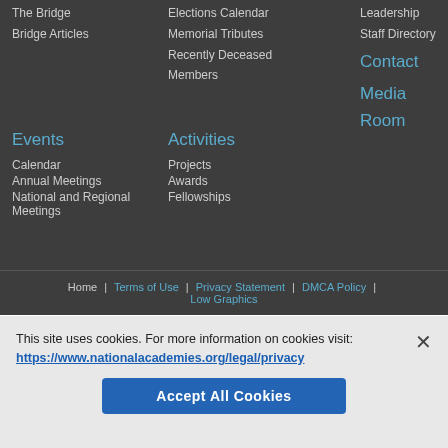The Bridge
Bridge Articles
Elections Calendar
Memorial Tributes
Recently Deceased Members
Leadership
Staff Directory
Contact
Media Room
Events
Activities
Calendar
Annual Meetings
National and Regional Meetings
Projects
Awards
Fellowships
Home | Terms of Use | Privacy Statement | DMCA Policy | Low Graphics
This site uses cookies. For more information on cookies visit: https://www.nationalacademies.org/legal/privacy
Accept All Cookies